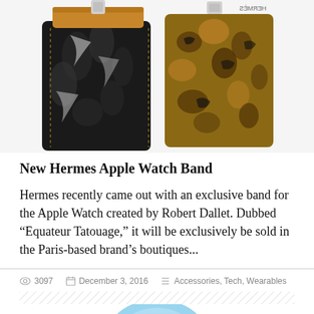[Figure (photo): Two Hermes Apple Watch bands — one with dark floral/botanical print and tan leather reverse, and one with wild animal print pattern, both shown laid flat]
New Hermes Apple Watch Band
Hermes recently came out with an exclusive band for the Apple Watch created by Robert Dallet. Dubbed “Equateur Tatouage,” it will be exclusively be sold in the Paris-based brand’s boutiques...
3097   December 3, 2016   Accessories, Tech, Wearables
[Figure (photo): Partial view of another watch band or product, showing blue and light colored pattern, cropped at bottom of page]